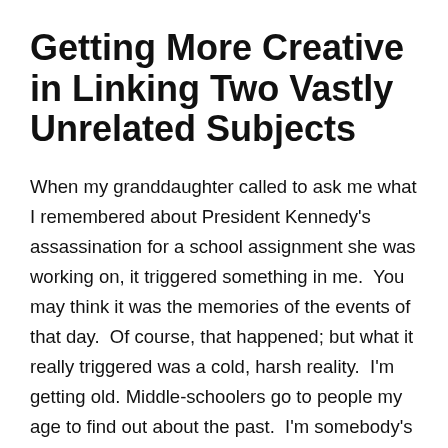Getting More Creative in Linking Two Vastly Unrelated Subjects
When my granddaughter called to ask me what I remembered about President Kennedy's assassination for a school assignment she was working on, it triggered something in me.  You may think it was the memories of the events of that day.  Of course, that happened; but what it really triggered was a cold, harsh reality.  I'm getting old.  Middle-schoolers go to people my age to find out about the past.  I'm somebody's homework.
I explained to Mia that when JFK was shot I was seven years old – a second-grader.  The full impact was lost on me much like the reason why we had atomic bomb drills